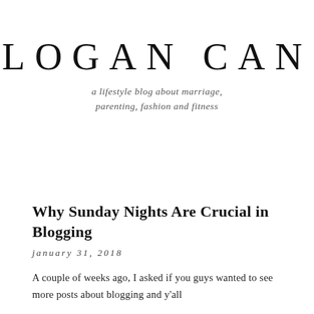LOGAN CAN
a lifestyle blog about marriage, parenting, fashion and fitness
Why Sunday Nights Are Crucial in Blogging
january 31, 2018
A couple of weeks ago, I asked if you guys wanted to see more posts about blogging and y'all